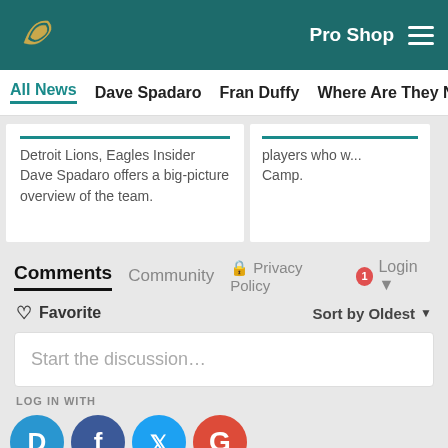Pro Shop
All News  Dave Spadaro  Fran Duffy  Where Are They Now?  Pu
Detroit Lions, Eagles Insider Dave Spadaro offers a big-picture overview of the team.
players who w... Camp.
Comments  Community  Privacy Policy  Login
Favorite
Sort by Oldest
Start the discussion…
LOG IN WITH
[Figure (other): Social login icons: Disqus (blue D), Facebook (dark blue F), Twitter (blue bird), Google (red G)]
[Figure (other): Bottom share icons: Facebook, Twitter, Email, Link]